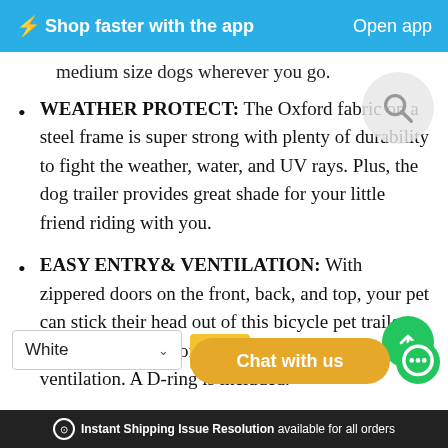⚡Shop faster with the app   Open app
medium size dogs wherever you go.
WEATHER PROTECT: The Oxford fabric on a steel frame is super strong with plenty of durability to fight the weather, water, and UV rays. Plus, the dog trailer provides great shade for your little friend riding with you.
EASY ENTRY& VENTILATION: With zippered doors on the front, back, and top, your pet can stick their head out of this bicycle pet trailer and have the time of their life. Plus, it amazing ventilation. A D-ring is included.
⊙ Instant Shipping Issue Resolution available for all orders